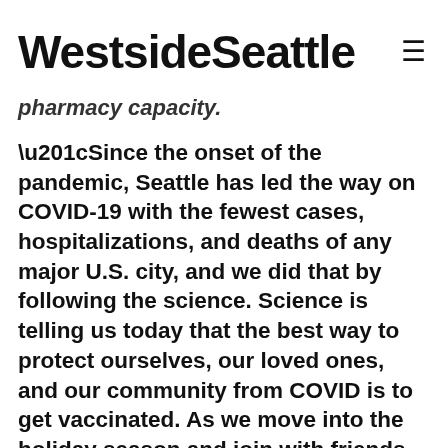Westside Seattle
pharmacy capacity.
“Since the onset of the pandemic, Seattle has led the way on COVID-19 with the fewest cases, hospitalizations, and deaths of any major U.S. city, and we did that by following the science. Science is telling us today that the best way to protect ourselves, our loved ones, and our community from COVID is to get vaccinated. As we move into the holiday season and join with friends and family more frequently indoors, vaccinations become even more important,” said Mayor Durkan. “The new West Seattle Vaccination Clinic will add capacity to